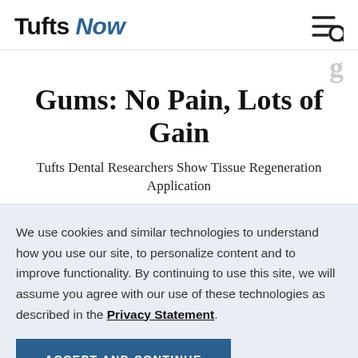Tufts Now
Gums: No Pain, Lots of Gain
Tufts Dental Researchers Show Tissue Regeneration Application
We use cookies and similar technologies to understand how you use our site, to personalize content and to improve functionality. By continuing to use this site, we will assume you agree with our use of these technologies as described in the Privacy Statement.
ACCEPT AND CONTINUE